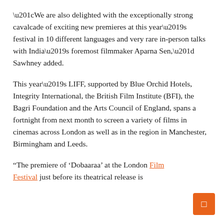“We are also delighted with the exceptionally strong cavalcade of exciting new premieres at this year’s festival in 10 different languages and very rare in-person talks with India’s foremost filmmaker Aparna Sen,” Sawhney added.
This year’s LIFF, supported by Blue Orchid Hotels, Integrity International, the British Film Institute (BFI), the Bagri Foundation and the Arts Council of England, spans a fortnight from next month to screen a variety of films in cinemas across London as well as in the region in Manchester, Birmingham and Leeds.
“The premiere of ‘Dobaaraa’ at the London Film Festival just before its theatrical release is